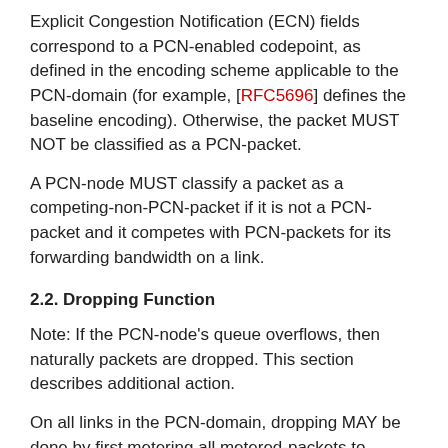Explicit Congestion Notification (ECN) fields correspond to a PCN-enabled codepoint, as defined in the encoding scheme applicable to the PCN-domain (for example, [RFC5696] defines the baseline encoding). Otherwise, the packet MUST NOT be classified as a PCN-packet.
A PCN-node MUST classify a packet as a competing-non-PCN-packet if it is not a PCN-packet and it competes with PCN-packets for its forwarding bandwidth on a link.
2.2. Dropping Function
Note: If the PCN-node's queue overflows, then naturally packets are dropped. This section describes additional action.
On all links in the PCN-domain, dropping MAY be done by first metering all metered-packets to determine if the rate of metered- traffic on the link is greater than the rate allowed for such traffic; if the rate of metered-traffic is too high, then drop metered-packets.